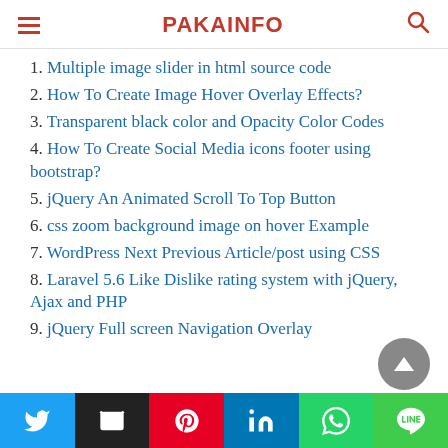PAKAINFO
1. Multiple image slider in html source code
2. How To Create Image Hover Overlay Effects?
3. Transparent black color and Opacity Color Codes
4. How To Create Social Media icons footer using bootstrap?
5. jQuery An Animated Scroll To Top Button
6. css zoom background image on hover Example
7. WordPress Next Previous Article/post using CSS
8. Laravel 5.6 Like Dislike rating system with jQuery, Ajax and PHP
9. jQuery Full screen Navigation Overlay
Social share bar: Twitter, Email, Pinterest, LinkedIn, WhatsApp, Line